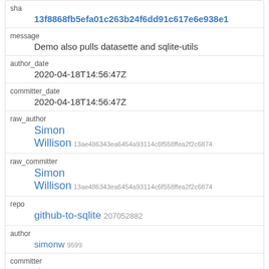| sha | 13f8868fb5efa01c263b24f6dd91c617e6e938e1 |
| message | Demo also pulls datasette and sqlite-utils |
| author_date | 2020-04-18T14:56:47Z |
| committer_date | 2020-04-18T14:56:47Z |
| raw_author | Simon Willison 13ae486343ea6454a93114c6f558ffea2f2c6874 |
| raw_committer | Simon Willison 13ae486343ea6454a93114c6f558ffea2f2c6874 |
| repo | github-to-sqlite 207052882 |
| author | simonw 9599 |
| committer | simonw 9599 |